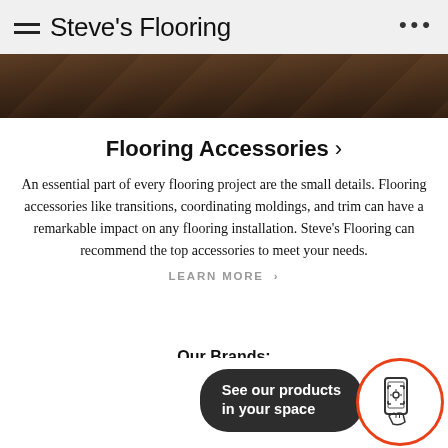Steve's Flooring
[Figure (photo): Dark wood flooring texture, partial view at top of page]
Flooring Accessories ›
An essential part of every flooring project are the small details. Flooring accessories like transitions, coordinating moldings, and trim can have a remarkable impact on any flooring installation. Steve's Flooring can recommend the top accessories to meet your needs.
LEARN MORE ›
Our Brands:
WarmlyYours Radiant Floor Heating, Zoroufy Stair Rods
[Figure (illustration): AR / augmented reality button: dark rounded rectangle with 'See our products in your space' text, and an orange-bordered circle with a phone scanning icon]